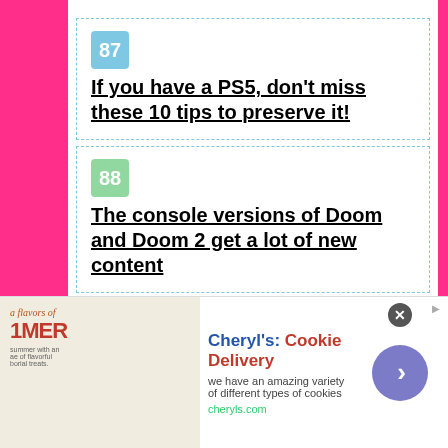87 If you have a PS5, don't miss these 10 tips to preserve it!
88 The console versions of Doom and Doom 2 get a lot of new content
89 Bloodborne board game gets trailer and campaign on Kickstarter
[Figure (other): Advertisement banner for Cheryl's Cookie Delivery with logo image, brand text, description 'we have an amazing variety of different types of cookies', URL 'cheryls.com', and a circular arrow button. Close button (x) in top right.]